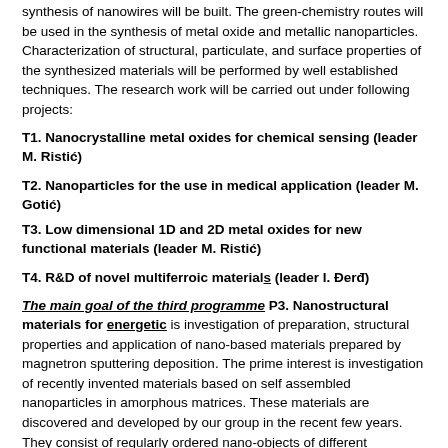synthesis of nanowires will be built. The green-chemistry routes will be used in the synthesis of metal oxide and metallic nanoparticles. Characterization of structural, particulate, and surface properties of the synthesized materials will be performed by well established techniques. The research work will be carried out under following projects:
T1. Nanocrystalline metal oxides for chemical sensing (leader M. Ristić)
T2. Nanoparticles for the use in medical application (leader M. Gotić)
T3. Low dimensional 1D and 2D metal oxides for new functional materials (leader M. Ristić)
T4. R&D of novel multiferroic materials (leader I. Đerđ)
The main goal of the third programme P3. Nanostructural materials for energetic is investigation of preparation, structural properties and application of nano-based materials prepared by magnetron sputtering deposition. The prime interest is investigation of recently invented materials based on self assembled nanoparticles in amorphous matrices. These materials are discovered and developed by our group in the recent few years. They consist of regularly ordered nano-objects of different composition (metallic, semiconductor, and mixed) embedded in various amorphous matrices (alumina, silica, mullite). These materials have a great potential for application in various nanotechnology fields. The most promising applications of semiconductor quantum dots are super-efficient solar cells and photodetectors. Metallic nanoparticles are of great interest for different, today very popular, spintronic applications. The mixed